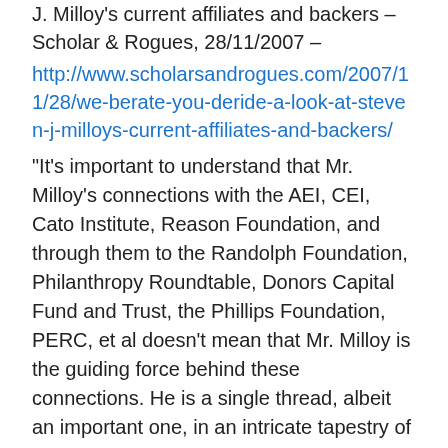J. Milloy's current affiliates and backers – Scholar & Rogues, 28/11/2007 –
http://www.scholarsandrogues.com/2007/11/28/we-berate-you-deride-a-look-at-steven-j-milloys-current-affiliates-and-backers/
“It’s important to understand that Mr. Milloy’s connections with the AEI, CEI, Cato Institute, Reason Foundation, and through them to the Randolph Foundation, Philanthropy Roundtable, Donors Capital Fund and Trust, the Phillips Foundation, PERC, et al doesn’t mean that Mr. Milloy is the guiding force behind these connections. He is a single thread, albeit an important one, in an intricate tapestry of denial and misrepresentation of science in the service of conservative ideology. Through the deep pockets of his various corporate and conservative supporters over the years, he's become a very effective conservative soldier in the war for the minds, and votes, of the people.”